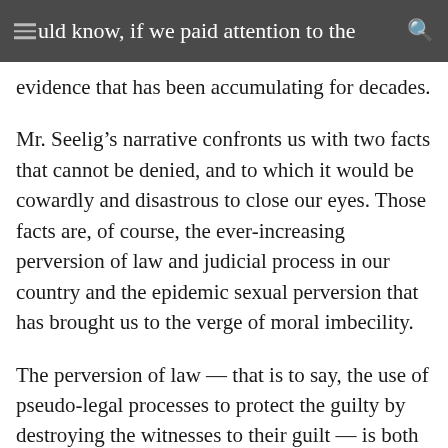uld know, if we paid attention to the evidence that has been accumulating for decades.
Mr. Seelig’s narrative confronts us with two facts that cannot be denied, and to which it would be cowardly and disastrous to close our eyes. Those facts are, of course, the ever-increasing perversion of law and judicial process in our country and the epidemic sexual perversion that has brought us to the verge of moral imbecility.
The perversion of law — that is to say, the use of pseudo-legal processes to protect the guilty by destroying the witnesses to their guilt — is both common and notorious. It is so notorious that one can only wonder at the fatuous apathy of a public that does nothing about it because